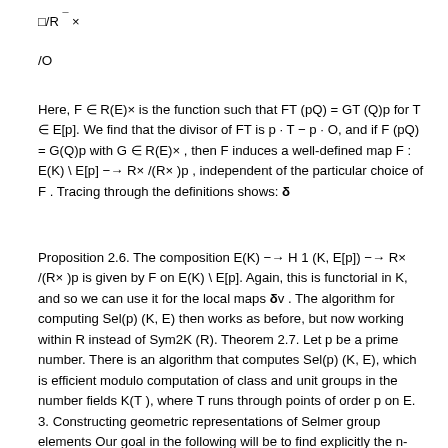Here, F ∈ R(E)× is the function such that FT (pQ) = GT (Q)p for T ∈ E[p]. We find that the divisor of FT is p · T − p · O, and if F (pQ) = G(Q)p with G ∈ R(E)× , then F induces a well-defined map F : E(K) \ E[p] −→ R× /(R× )p , independent of the particular choice of F . Tracing through the definitions shows: δ
Proposition 2.6. The composition E(K) −→ H 1 (K, E[p]) −→ R× /(R× )p is given by F on E(K) \ E[p]. Again, this is functorial in K, and so we can use it for the local maps δv . The algorithm for computing Sel(p) (K, E) then works as before, but now working within R instead of Sym2K (R). Theorem 2.7. Let p be a prime number. There is an algorithm that computes Sel(p) (K, E), which is efficient modulo computation of class and unit groups in the number fields K(T ), where T runs through points of order p on E. 3. Constructing geometric representations of Selmer group elements Our goal in the following will be to find explicitly the n-coverings corresponding to given elements of the n-Selmer group. We assume that we have realized the Selmer group as a